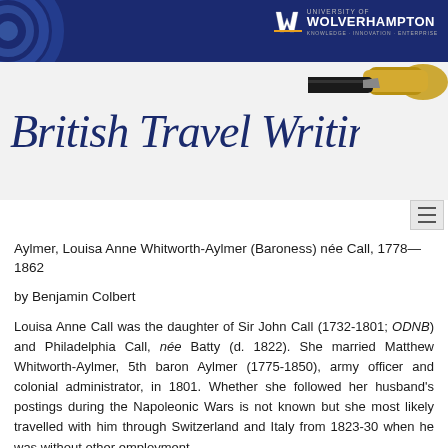University of Wolverhampton — Knowledge · Innovation · Enterprise
[Figure (illustration): British Travel Writing banner with cursive script text and a fountain pen image on a light background, with dark navy header bar and University of Wolverhampton logo]
Aylmer, Louisa Anne Whitworth-Aylmer (Baroness) née Call, 1778—1862
by Benjamin Colbert
Louisa Anne Call was the daughter of Sir John Call (1732-1801; ODNB) and Philadelphia Call, née Batty (d. 1822). She married Matthew Whitworth-Aylmer, 5th baron Aylmer (1775-1850), army officer and colonial administrator, in 1801. Whether she followed her husband's postings during the Napoleonic Wars is not known but she most likely travelled with him through Switzerland and Italy from 1823-30 when he was without other employment.